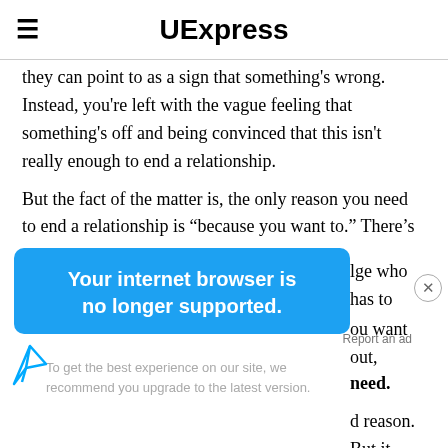UExpress
they can point to as a sign that something's wrong. Instead, you're left with the vague feeling that something's off and being convinced that this isn't really enough to end a relationship.
But the fact of the matter is, the only reason you need to end a relationship is "because you want to." There's
[Figure (screenshot): Browser compatibility notification banner in blue reading 'Your internet browser is no longer supported.' overlaying article text, with a paper plane icon and upgrade message below.]
lge who has to
ou want out,
need.
d reason. But it